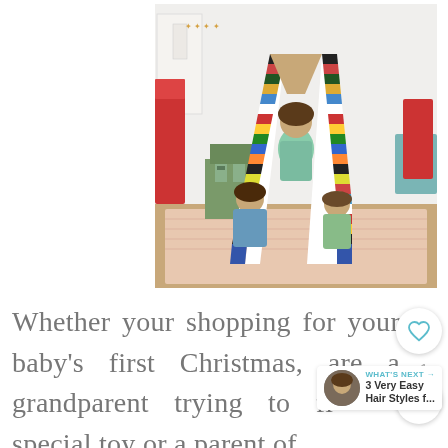[Figure (photo): Two children and another child sitting inside a colorful rainbow-striped A-frame tent/fort made of striped blankets in a playroom with a red bed, dollhouse, and patterned rug.]
Whether your shopping for your baby's first Christmas, are a grandparent trying to fi... special toy or a parent of